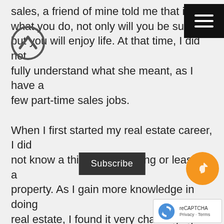sales, a friend of mine told me that if you what you do, not only will you be success but you will enjoy life. At that time, I did not fully understand what she meant, as I have a few part-time sales jobs. When I first started my real estate career, I did not know a thing about selling or leasing a property. As I gain more knowledge in doing real estate, I found it very challenging and the idea of helping people buy their first home, sell or leasing their property at their expectat it brings me a great satisfaction. ♥♥ ♥ ♥ Now after so many years later, I ha fully understand what my friend told me. I have
[Figure (other): Up arrow circular icon (back to top button)]
[Figure (other): Hamburger menu button (black rectangle with three white lines)]
[Figure (other): Subscribe dark bar overlay]
[Figure (other): Orange circular button with pointer/hand icon]
[Figure (other): reCAPTCHA logo box with Privacy and Terms text]